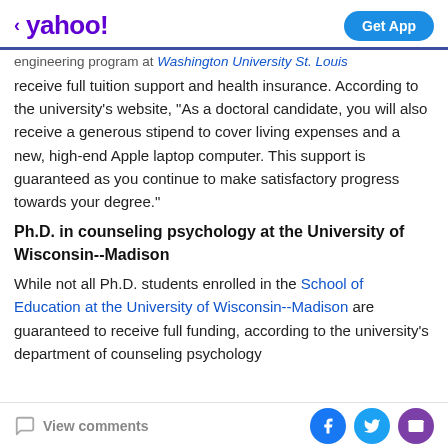< yahoo!  Get App
engineering program at Washington University St. Louis receive full tuition support and health insurance. According to the university's website, "As a doctoral candidate, you will also receive a generous stipend to cover living expenses and a new, high-end Apple laptop computer. This support is guaranteed as you continue to make satisfactory progress towards your degree."
Ph.D. in counseling psychology at the University of Wisconsin--Madison
While not all Ph.D. students enrolled in the School of Education at the University of Wisconsin--Madison are guaranteed to receive full funding, according to the university's department of counseling psychology
View comments